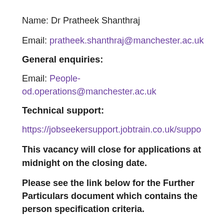Name: Dr Pratheek Shanthraj
Email: pratheek.shanthraj@manchester.ac.uk
General enquiries:
Email: People-od.operations@manchester.ac.uk
Technical support:
https://jobseekersupport.jobtrain.co.uk/suppo
This vacancy will close for applications at midnight on the closing date.
Please see the link below for the Further Particulars document which contains the person specification criteria.